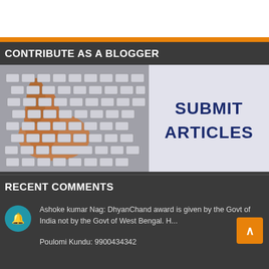CONTRIBUTE AS A BLOGGER
[Figure (photo): A hand pressing a key on a keyboard, with text 'SUBMIT ARTICLES' on the right side of the image]
RECENT COMMENTS
Ashoke kumar Nag: DhyanChand award is given by the Govt of India not by the Govt of West Bengal. H...
Poulomi Kundu: 9900434342